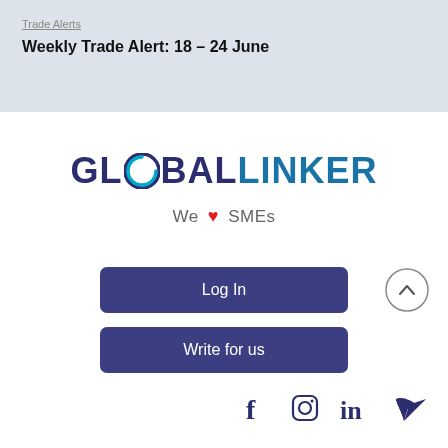Trade Alerts
Weekly Trade Alert: 18 – 24 June
[Figure (logo): GlobalLinker logo with teal O accent and text 'GLOBALLINKER', tagline 'We ♥ SMEs']
Log In
Write for us
[Figure (infographic): Social media icons: Facebook, Instagram, LinkedIn, Twitter in dark navy color]